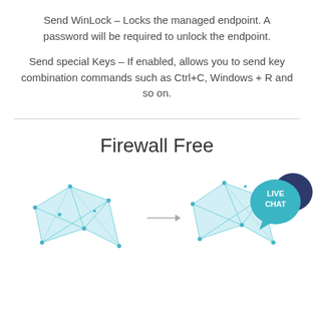Send WinLock – Locks the managed endpoint. A password will be required to unlock the endpoint.
Send special Keys – If enabled, allows you to send key combination commands such as Ctrl+C, Windows + R and so on.
Firewall Free
[Figure (illustration): Network diagram illustration showing interconnected nodes with lines forming a mesh/polygon network pattern, with a Live Chat speech bubble overlay in the bottom right corner. Two network cluster shapes connected by an arrow. A teal circle with 'LIVE CHAT' text overlaid on a dark navy circle bubble in the bottom right.]